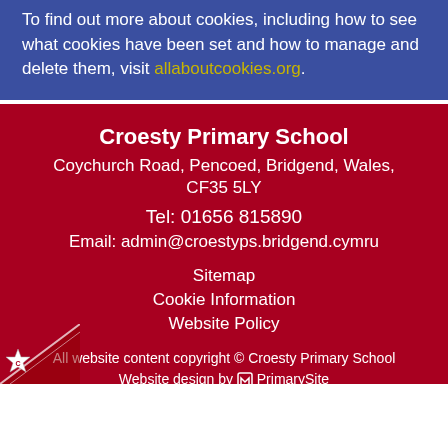To find out more about cookies, including how to see what cookies have been set and how to manage and delete them, visit allaboutcookies.org.
Croesty Primary School
Coychurch Road, Pencoed, Bridgend, Wales, CF35 5LY
Tel: 01656 815890
Email: admin@croestyps.bridgend.cymru
Sitemap
Cookie Information
Website Policy
All website content copyright © Croesty Primary School
Website design by PrimarySite